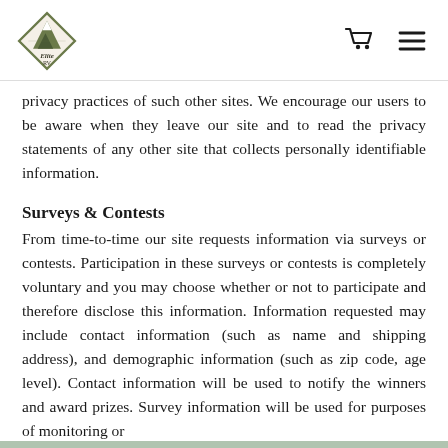Elite RV logo, cart icon, menu icon
privacy practices of such other sites. We encourage our users to be aware when they leave our site and to read the privacy statements of any other site that collects personally identifiable information.
Surveys & Contests
From time-to-time our site requests information via surveys or contests. Participation in these surveys or contests is completely voluntary and you may choose whether or not to participate and therefore disclose this information. Information requested may include contact information (such as name and shipping address), and demographic information (such as zip code, age level). Contact information will be used to notify the winners and award prizes. Survey information will be used for purposes of monitoring or